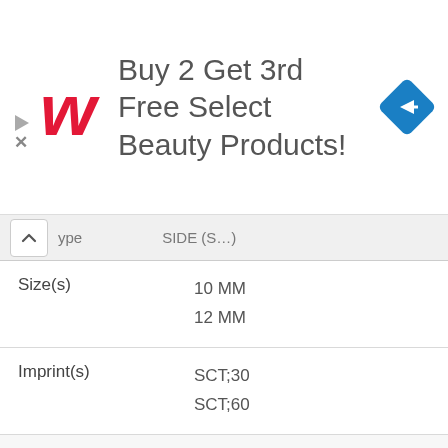[Figure (other): Walgreens advertisement banner: Walgreens logo (stylized red W), text 'Buy 2 Get 3rd Free Select Beauty Products!', navigation/direction icon (blue diamond with arrow)]
| Type | SIDE (Partial) |
| --- | --- |
| Size(s) | 10 MM
12 MM |
| Imprint(s) | SCT;30
SCT;60 |
| Score | 1 |